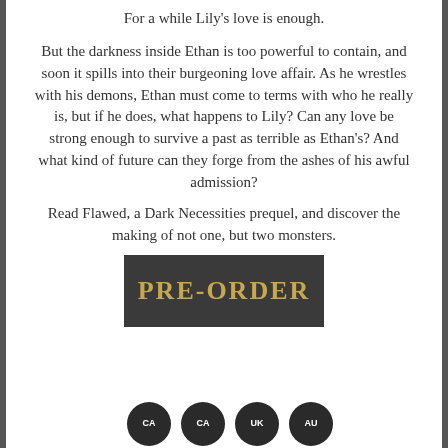For a while Lily's love is enough.
But the darkness inside Ethan is too powerful to contain, and soon it spills into their burgeoning love affair. As he wrestles with his demons, Ethan must come to terms with who he really is, but if he does, what happens to Lily? Can any love be strong enough to survive a past as terrible as Ethan's? And what kind of future can they forge from the ashes of his awful admission?
Read Flawed, a Dark Necessities prequel, and discover the making of not one, but two monsters.
[Figure (other): A dark gray rectangular button with gold text reading PRE-ORDER]
[Figure (other): Four dark circular icons showing store/region labels: CA, UK, AU and one more]